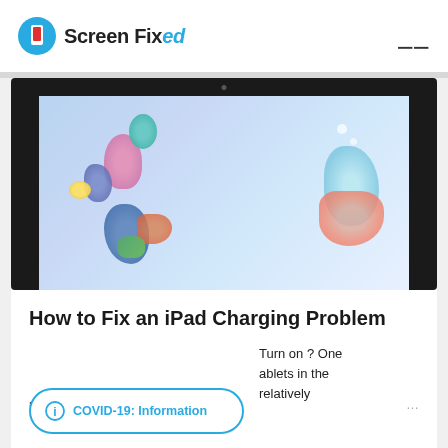Screen Fixed
[Figure (screenshot): iPad displaying colorful digital art illustration with jellyfish-like creatures on a light blue background]
How to Fix an iPad Charging Problem
iPad Won't Charge or Turn on ? One of the most popular tablets in the world, iPads have a relatively powerful battery. Yet, even this
COVID-19: Information